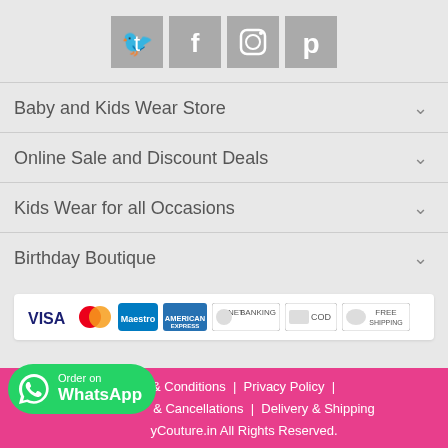[Figure (illustration): Row of four social media icon buttons (Twitter, Facebook, Instagram, Pinterest) in grey square boxes]
Baby and Kids Wear Store
Online Sale and Discount Deals
Kids Wear for all Occasions
Birthday Boutique
[Figure (illustration): Payment method logos: VISA, MasterCard, Maestro, American Express, NET BANKING, COD, FREE SHIPPING]
Terms & Conditions  |  Privacy Policy  |  & Cancellations  |  Delivery & Shipping  yCouture.in All Rights Reserved.
[Figure (illustration): Green WhatsApp button with icon and text 'Order on WhatsApp']